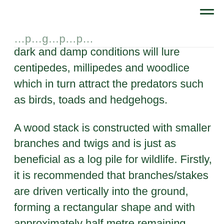dark and damp conditions will lure centipedes, millipedes and woodlice which in turn attract the predators such as birds, toads and hedgehogs.
A wood stack is constructed with smaller branches and twigs and is just as beneficial as a log pile for wildlife. Firstly, it is recommended that branches/stakes are driven vertically into the ground, forming a rectangular shape and with approximately half metre remaining above ground.
Then start with laying the larger branches at the bottom and begin to fill the formed rectangular shape with the remaining branches and twigs until the desired height is